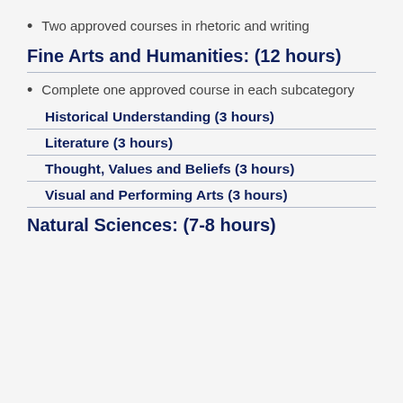Two approved courses in rhetoric and writing
Fine Arts and Humanities: (12 hours)
Complete one approved course in each subcategory
Historical Understanding (3 hours)
Literature (3 hours)
Thought, Values and Beliefs (3 hours)
Visual and Performing Arts (3 hours)
Natural Sciences: (7-8 hours)